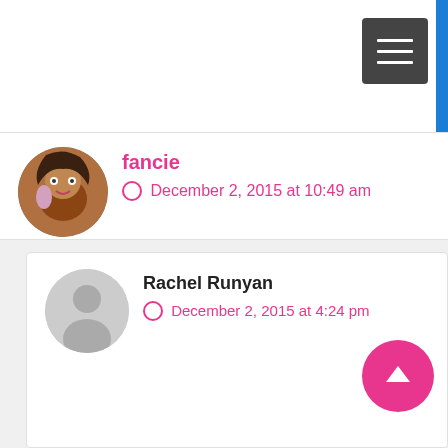[Figure (screenshot): Navigation bar with hamburger menu button (dark gray) and blue vertical bar on right edge]
fancie
December 2, 2015 at 10:49 am
Oh no!! I'm so sorry to hear that. I hope it didn't cause you too much trouble! Have you tried Benefit's They're Real? It's another favorite of mine that reminds me of Better Than Sex. Maybe that one will work better for you
Rachel Runyan
December 2, 2015 at 4:24 pm